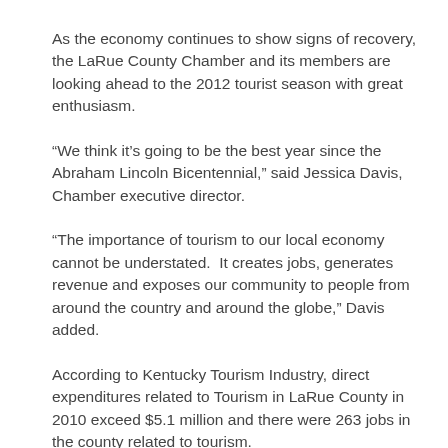As the economy continues to show signs of recovery, the LaRue County Chamber and its members are looking ahead to the 2012 tourist season with great enthusiasm.
“We think it’s going to be the best year since the Abraham Lincoln Bicentennial,” said Jessica Davis, Chamber executive director.
“The importance of tourism to our local economy cannot be understated.  It creates jobs, generates revenue and exposes our community to people from around the country and around the globe,” Davis added.
According to Kentucky Tourism Industry, direct expenditures related to Tourism in LaRue County in 2010 exceed $5.1 million and there were 263 jobs in the county related to tourism.